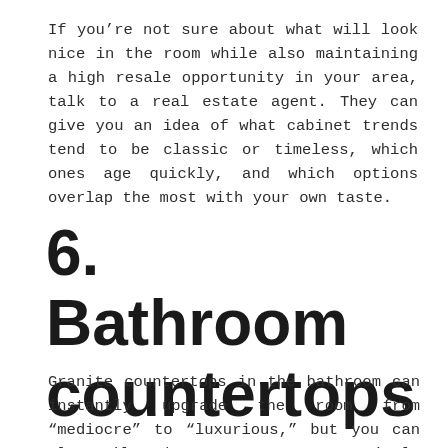If you're not sure about what will look nice in the room while also maintaining a high resale opportunity in your area, talk to a real estate agent. They can give you an idea of what cabinet trends tend to be classic or timeless, which ones age quickly, and which options overlap the most with your own taste.
6. Bathroom countertops
Granite countertops in the bathroom can instantly upgrade the room from “mediocre” to “luxurious,” but you can also tile the countertops, or simply replace the materials. If you have the space to add another sink to your bathroom vanity, or replace a depressed countertop sink with a classic glass bowl style that sits